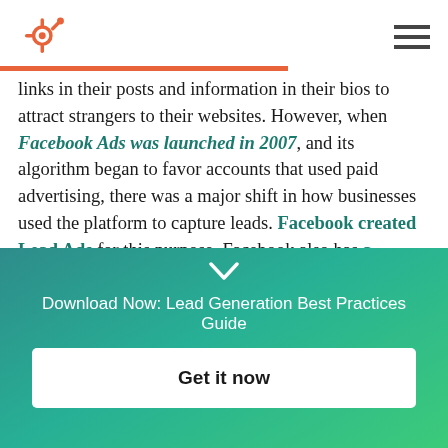HubSpot logo and navigation menu
links in their posts and information in their bios to attract strangers to their websites. However, when Facebook Ads was launched in 2007, and its algorithm began to favor accounts that used paid advertising, there was a major shift in how businesses used the platform to capture leads. Facebook created Lead Ads for this purpose. Facebook also has a feature that lets you put a simple call-to-action
[Figure (infographic): Gradient teal-to-green banner with chevron down arrow, download prompt text, and Get it now button]
Download Now: Lead Generation Best Practices Guide
Get it now